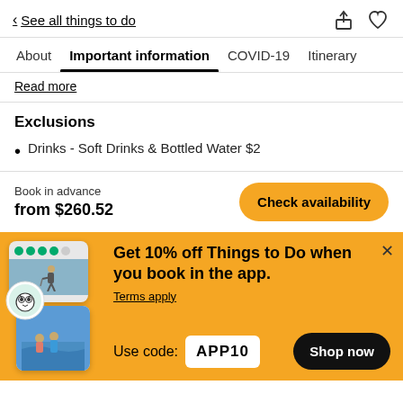< See all things to do
Important information
Read more
Exclusions
Drinks - Soft Drinks & Bottled Water $2
Book in advance
from $260.52
[Figure (screenshot): Check availability button - yellow rounded button]
[Figure (infographic): Promotional banner with TripAdvisor app images showing hikers and people at beach, TripAdvisor owl logo badge]
Get 10% off Things to Do when you book in the app.
Terms apply
Use code: APP10
Shop now